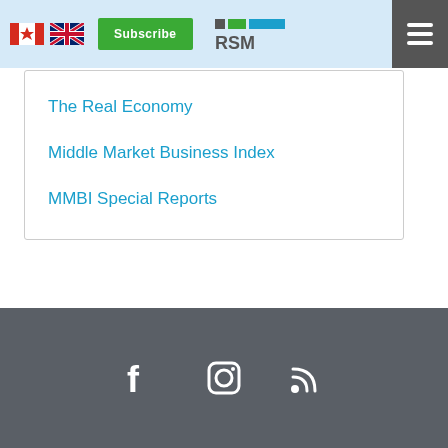RSM Canada - Subscribe - The Real Economy, Middle Market Business Index, MMBI Special Reports
The Real Economy
Middle Market Business Index
MMBI Special Reports
Social media icons: Facebook, Instagram, RSS